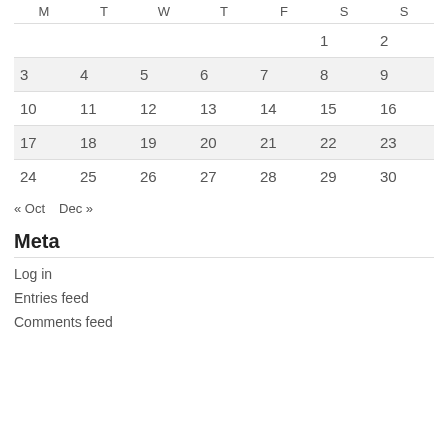| M | T | W | T | F | S | S |
| --- | --- | --- | --- | --- | --- | --- |
|  |  |  |  |  | 1 | 2 |
| 3 | 4 | 5 | 6 | 7 | 8 | 9 |
| 10 | 11 | 12 | 13 | 14 | 15 | 16 |
| 17 | 18 | 19 | 20 | 21 | 22 | 23 |
| 24 | 25 | 26 | 27 | 28 | 29 | 30 |
« Oct   Dec »
Meta
Log in
Entries feed
Comments feed